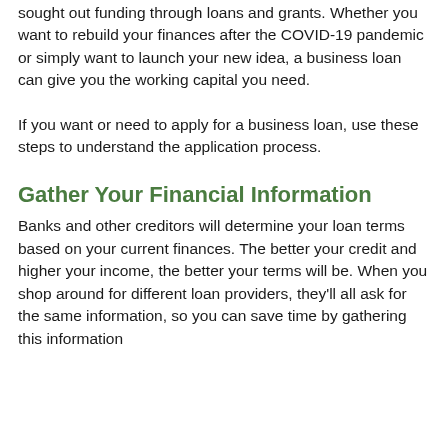sought out funding through loans and grants. Whether you want to rebuild your finances after the COVID-19 pandemic or simply want to launch your new idea, a business loan can give you the working capital you need.
If you want or need to apply for a business loan, use these steps to understand the application process.
Gather Your Financial Information
Banks and other creditors will determine your loan terms based on your current finances. The better your credit and higher your income, the better your terms will be. When you shop around for different loan providers, they'll all ask for the same information, so you can save time by gathering this information